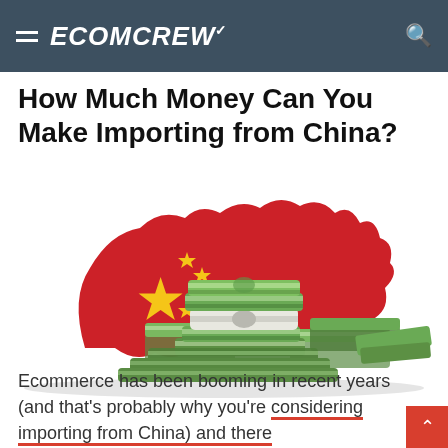ECOMCREW
How Much Money Can You Make Importing from China?
[Figure (illustration): Illustration of a red map of China decorated with yellow stars (Chinese flag design) behind stacked piles of green money/cash bundles.]
Ecommerce has been booming in recent years (and that's probably why you're considering importing from China) and there